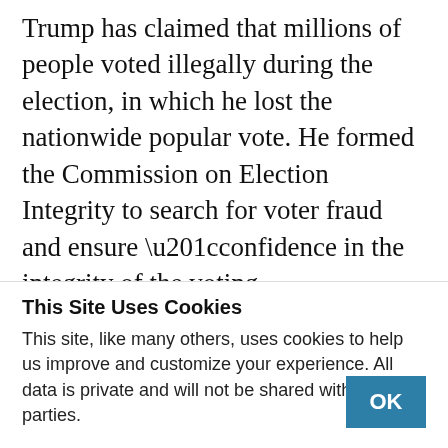Trump has claimed that millions of people voted illegally during the election, in which he lost the nationwide popular vote. He formed the Commission on Election Integrity to search for voter fraud and ensure “confidence in the integrity of the voting process.”
The President’s claims of widespread voter fraud have been presented without evidence, and most state election officials have rebuked the idea that large numbers of people voted illegally. Opponents
This Site Uses Cookies
This site, like many others, uses cookies to help us improve and customize your experience. All data is private and will not be shared with third parties.